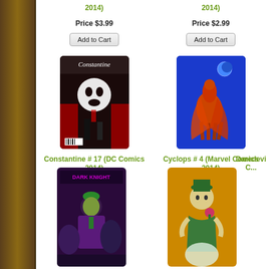2014)
Price $3.99
Add to Cart
2014)
Price $2.99
Add to Cart
[Figure (photo): Constantine #17 comic book cover showing a skull face silhouette with two figures below in a dark red scene]
Constantine # 17 (DC Comics 2014)
Price $2.99
Sale Price $2.39
Add to Cart
[Figure (photo): Cyclops #4 comic book cover showing a figure on horseback against a blue background with a moon]
Cyclops # 4 (Marvel Comics 2014)
Price $3.99
Add to Cart
Daredevil...
[Figure (photo): Dark Knight comic book cover with a villain in purple and green against a dark purple background]
[Figure (photo): Comic book cover with a character in green and orange against a yellow/orange background]